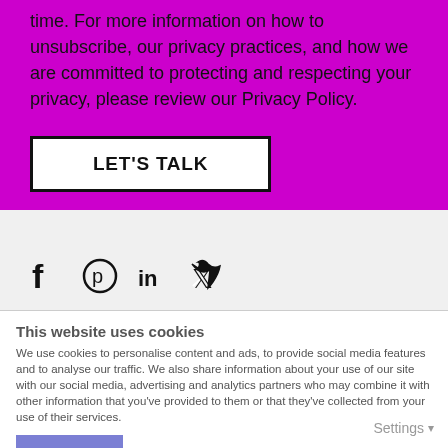time. For more information on how to unsubscribe, our privacy practices, and how we are committed to protecting and respecting your privacy, please review our Privacy Policy.
LET'S TALK
[Figure (other): Social media icons: Facebook, Pinterest, LinkedIn, Twitter]
This website uses cookies
We use cookies to personalise content and ads, to provide social media features and to analyse our traffic. We also share information about your use of our site with our social media, advertising and analytics partners who may combine it with other information that you've provided to them or that they've collected from your use of their services.
OK
Settings